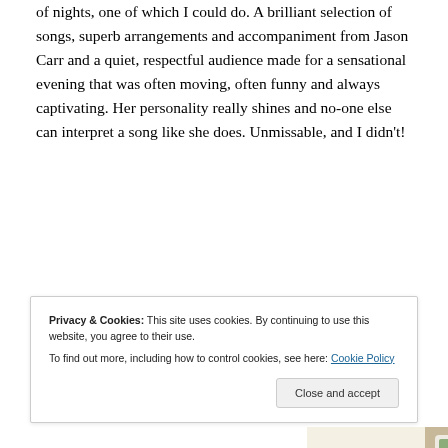of nights, one of which I could do. A brilliant selection of songs, superb arrangements and accompaniment from Jason Carr and a quiet, respectful audience made for a sensational evening that was often moving, often funny and always captivating. Her personality really shines and no-one else can interpret a song like she does. Unmissable, and I didn't!
[Figure (screenshot): Advertisement banner with 'Explore options' green button and food/lifestyle app screenshots on a beige background]
Privacy & Cookies: This site uses cookies. By continuing to use this website, you agree to their use. To find out more, including how to control cookies, see here: Cookie Policy
Close and accept